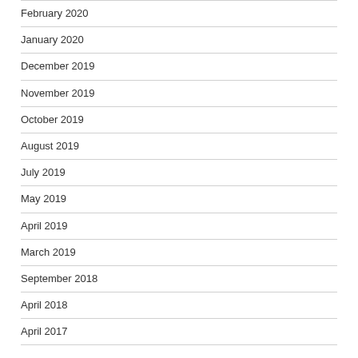February 2020
January 2020
December 2019
November 2019
October 2019
August 2019
July 2019
May 2019
April 2019
March 2019
September 2018
April 2018
April 2017